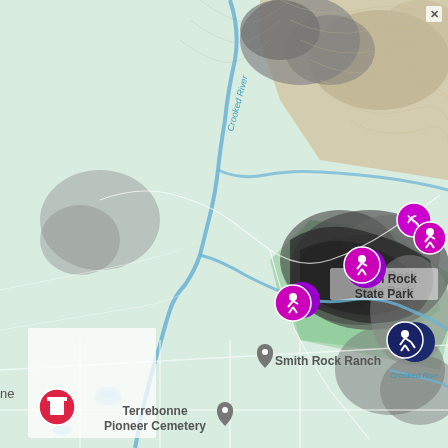[Figure (map): Topographic map showing Smith Rock State Park area in Oregon. The map displays the Crooked River winding through the area, with Smith Rock State Park highlighted in green. Several purple climbing activity markers and one dark navy marker are placed within the park. Labels visible include 'Smith Rock State Park', 'Smith Rock Ranch', 'Terrebonne Pioneer Cemetery', and 'Crooked River'. The terrain shows shaded relief with rocky formations in gray and flat agricultural land in light green. A location pin is shown near Smith Rock Ranch and near Terrebonne Pioneer Cemetery. A red icon appears at bottom left near 'ne' (Terrebonne).]